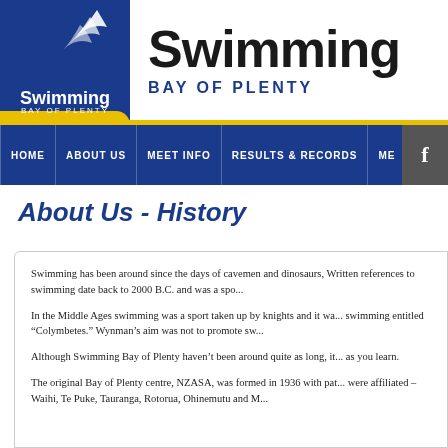[Figure (logo): Swimming Bay of Plenty logo — blue square with white swimming bird/wings graphic, white text 'Swimming' and 'BAY OF PLENTY', yellow curved accent at bottom]
Swimming BAY OF PLENTY
HOME  ABOUT US  MEET INFO  RESULTS & RECORDS  ME...
About Us - History
Swimming has been around since the days of cavemen and dinosaurs, Written references to swimming date back to 2000 B.C. and was a spo...
In the Middle Ages swimming was a sport taken up by knights and it wa... swimming entitled “Colymbetes.” Wynman’s aim was not to promote sw...
Although Swimming Bay of Plenty haven’t been around quite as long, it... as you learn.
The original Bay of Plenty centre, NZASA, was formed in 1936 with pat... were affiliated – Waihi, Te Puke, Tauranga, Rotorua, Ohinemutu and M...